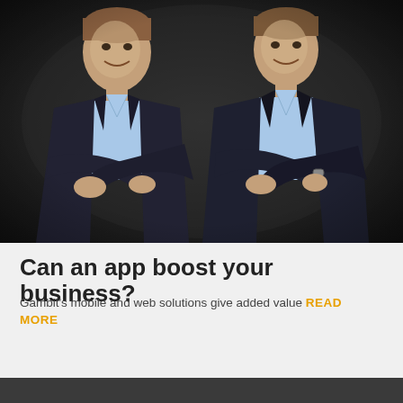[Figure (photo): Two young men in dark suits with light blue shirts, standing back-to-back with arms crossed, smiling, against a dark background — professional business photo]
Can an app boost your business?
Gambit's mobile and web solutions give added value READ MORE